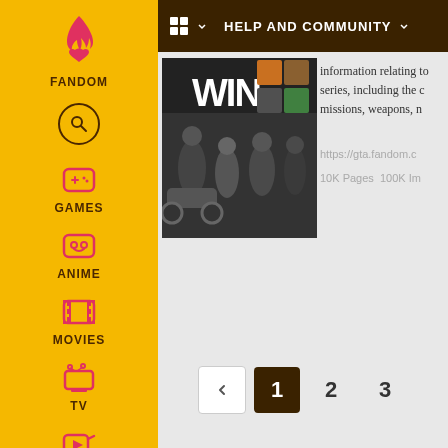[Figure (screenshot): Fandom left sidebar with yellow background showing logo, search, Games, Anime, Movies, TV, Video icons and labels]
HELP AND COMMUNITY
[Figure (photo): GTA game promotional image with characters and WIN text]
information relating to the series, including the c missions, weapons, n
https://gta.fandom.c
10K Pages   100K Im
[Figure (other): Pagination controls showing previous button, page 1 (active), page 2, page 3]
Community content is available under CC-BY-SA un
Follow on IG   TikTok   Join Fan Lab   Check out Fandom Quizzes and cha